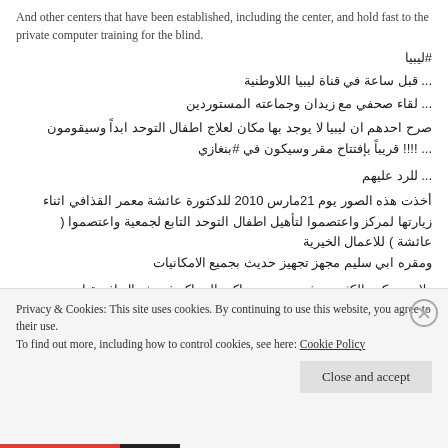And other centers that have been established, including the center, and hold fast to the private computer training for the blind.
#ليبيا
... قبل ساعة في قناة ليبيا اللاوطنية
... لقاء صحفي مع زيدان وجماعته المستوردين
صرح احدهم ان ليبيا لا يوجد بها مكان لعلاج اطفال التوحد ابداً وسيقومون ... !!!! قريباً بإفتتاح مقر وسيكون في #بنغازي
... للرد عليهم
أخذت هذه الصور يوم 21مارس 2010 للدكتورة عائشة معمر القذافي اثناء زيارتها لمركز واعتصموا لتأهيل اطفال التوحد التابع لجمعية واعتصموا ( عائشة ) للاعمال الخيرية
ومقره ابي سليم مجهز تجهيز حديث بجميع الامكانيات
ولا حد ينكر والكثير يعرفه ويعتبر من اكبر المراكز في شمال افريقيا
.... وتم قفله بعد فورة العار
Privacy & Cookies: This site uses cookies. By continuing to use this website, you agree to their use.
To find out more, including how to control cookies, see here: Cookie Policy
Close and accept